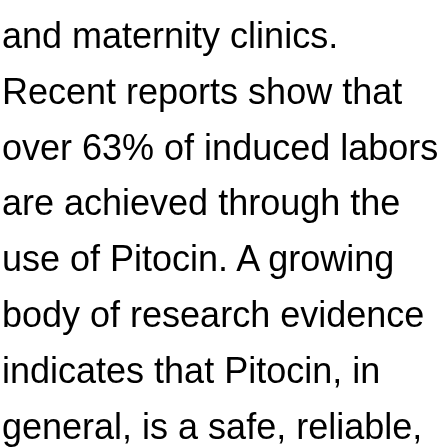and maternity clinics. Recent reports show that over 63% of induced labors are achieved through the use of Pitocin. A growing body of research evidence indicates that Pitocin, in general, is a safe, reliable, and medically-controlled labor induction method.